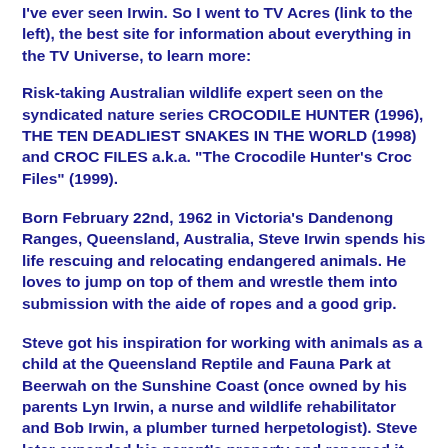I've ever seen Irwin. So I went to TV Acres (link to the left), the best site for information about everything in the TV Universe, to learn more:
Risk-taking Australian wildlife expert seen on the syndicated nature series CROCODILE HUNTER (1996), THE TEN DEADLIEST SNAKES IN THE WORLD (1998) and CROC FILES a.k.a. "The Crocodile Hunter's Croc Files" (1999).
Born February 22nd, 1962 in Victoria's Dandenong Ranges, Queensland, Australia, Steve Irwin spends his life rescuing and relocating endangered animals. He loves to jump on top of them and wrestle them into submission with the aide of ropes and a good grip.
Steve got his inspiration for working with animals as a child at the Queensland Reptile and Fauna Park at Beerwah on the Sunshine Coast (once owned by his parents Lyn Irwin, a nurse and wildlife rehabilitator and Bob Irwin, a plumber turned herpetologist). Steve later expanded his parent's property and renamed it The Australia Zoo, which has become their internationally